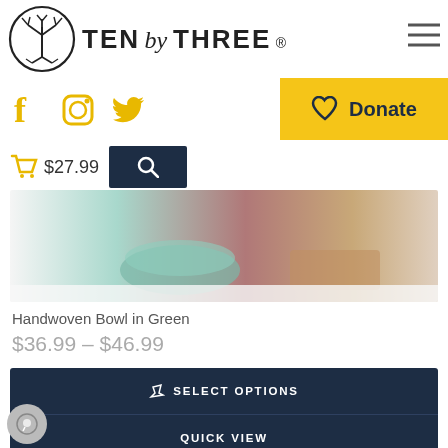[Figure (logo): Ten by Three logo with circular tree icon and brand name]
[Figure (infographic): Navigation hamburger menu icon (three horizontal lines)]
[Figure (infographic): Social media icons: Facebook, Instagram, Twitter in gold/yellow]
[Figure (infographic): Donate button with heart icon on yellow background]
[Figure (infographic): Shopping cart icon with $27.99 price and search button]
[Figure (photo): Handwoven bowl in green with other items on a table]
Handwoven Bowl in Green
$36.99 – $46.99
[Figure (infographic): Dark navy action buttons: SELECT OPTIONS, QUICK VIEW, COMPARE]